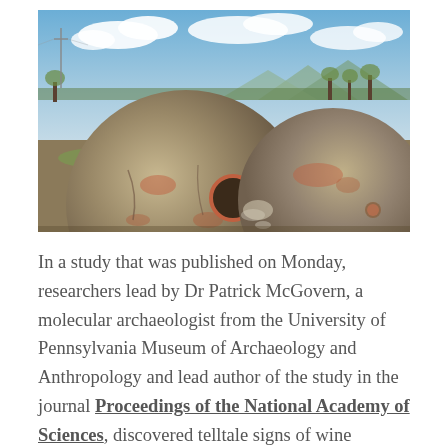[Figure (photo): Two large ancient clay jars (qvevri) lying on their sides in a field, with mountains and trees in the background under a partly cloudy sky.]
In a study that was published on Monday, researchers lead by Dr Patrick McGovern, a molecular archaeologist from the University of Pennsylvania Museum of Archaeology and Anthropology and lead author of the study in the journal Proceedings of the National Academy of Sciences, discovered telltale signs of wine